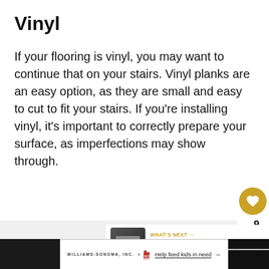Vinyl
If your flooring is vinyl, you may want to continue that on your stairs. Vinyl planks are an easy option, as they are small and easy to cut to fit your stairs. If you're installing vinyl, it's important to correctly prepare your surface, as imperfections may show through.
[Figure (infographic): Heart/like button (gold circle with heart icon), like count of 9, and share button (white circle with share icon)]
[Figure (infographic): What's Next panel with thumbnail of stairs and text 'How to Hang Art on...']
WILLIAMS-SONOMA, INC. × NO KID HUNGRY  Help feed kids in need →